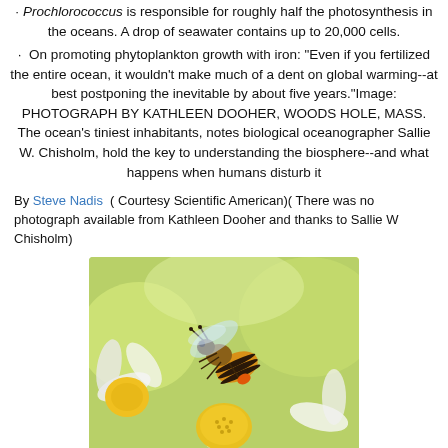Prochlorococcus is responsible for roughly half the photosynthesis in the oceans. A drop of seawater contains up to 20,000 cells.
On promoting phytoplankton growth with iron: "Even if you fertilized the entire ocean, it wouldn't make much of a dent on global warming--at best postponing the inevitable by about five years."Image: PHOTOGRAPH BY KATHLEEN DOOHER, WOODS HOLE, MASS. The ocean's tiniest inhabitants, notes biological oceanographer Sallie W. Chisholm, hold the key to understanding the biosphere--and what happens when humans disturb it
By Steve Nadis  ( Courtesy Scientific American)( There was no photograph available from Kathleen Dooher and thanks to Sallie W Chisholm)
[Figure (photo): Close-up photograph of a honey bee on a yellow and white flower (daisy), carrying orange pollen on its leg]